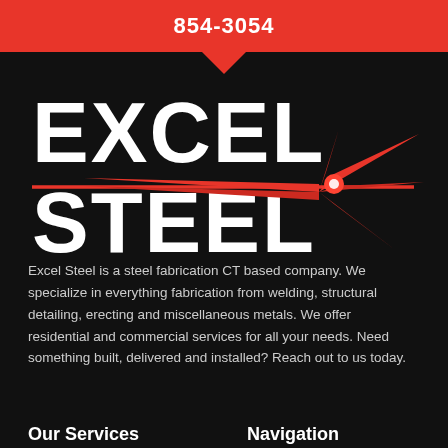854-3054
[Figure (logo): Excel Steel company logo with large white bold text 'EXCEL' and 'STEEL' on black background, with a red spark/star graphic and red diagonal line.]
Excel Steel is a steel fabrication CT based company. We specialize in everything fabrication from welding, structural detailing, erecting and miscellaneous metals. We offer residential and commercial services for all your needs. Need something built, delivered and installed? Reach out to us today.
Our Services
Navigation